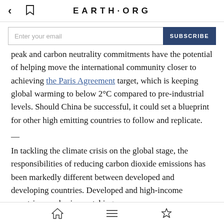EARTH·ORG
Enter your email  SUBSCRIBE
peak and carbon neutrality commitments have the potential of helping move the international community closer to achieving the Paris Agreement target, which is keeping global warming to below 2°C compared to pre-industrial levels. Should China be successful, it could set a blueprint for other high emitting countries to follow and replicate.
—
In tackling the climate crisis on the global stage, the responsibilities of reducing carbon dioxide emissions has been markedly different between developed and developing countries. Developed and high-income countries emphasise on taking
home  menu  star